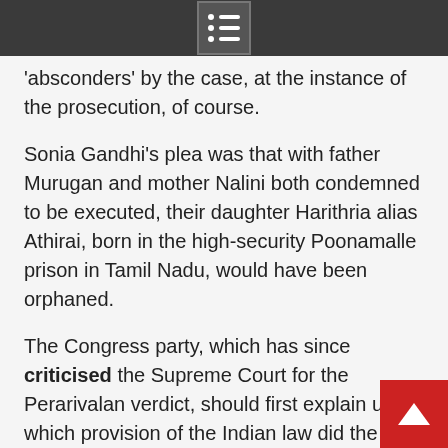'absconders' by the case, at the instance of the prosecution, of course.
Sonia Gandhi's plea was that with father Murugan and mother Nalini both condemned to be executed, their daughter Harithria alias Athirai, born in the high-security Poonamalle prison in Tamil Nadu, would have been orphaned.
The Congress party, which has since criticised the Supreme Court for the Perarivalan verdict, should first explain under which provision of the Indian law did the governor derive his powers to commute Nalini's death sentence, on the plea of an extraneous third party.
Under Indian criminal jurisprudence, the State is the prosecutor and the State, whether the